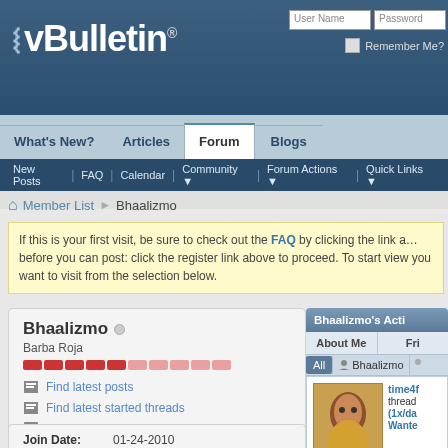[Figure (screenshot): vBulletin forum header with logo and login fields]
vBulletin® | What's New? | Articles | Forum | Blogs
New Posts | FAQ | Calendar | Community | Forum Actions | Quick Links
Member List > Bhaalizmo
If this is your first visit, be sure to check out the FAQ by clicking the link above. You may have to register before you can post: click the register link above to proceed. To start viewing messages, select the forum that you want to visit from the selection below.
Bhaalizmo
Barba Roja
Find latest posts
Find latest started threads
View Articles
View Blog Entries
Bhaalizmo's Acti
About Me | Fri
All | Bhaalizmo
time4f thread (1x/da Wante
As the t Bloodlus is still a
| Join Date: | 01-24-2010 |
| --- | --- |
| Last | 08-28-2022 10:10 |